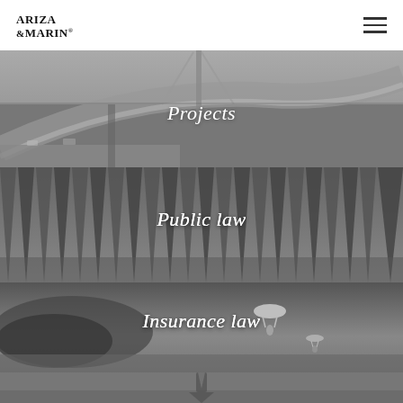ARIZA & MARIN
[Figure (photo): Black and white aerial photograph of a curved elevated highway/bridge infrastructure]
Projects
[Figure (photo): Black and white photograph of a large modern architectural structure with geometric ribbed facade]
Public law
[Figure (photo): Black and white photograph of paragliders over a coast with stormy sky]
Insurance law
[Figure (photo): Black and white photograph of a person near water, partially visible at bottom of page]